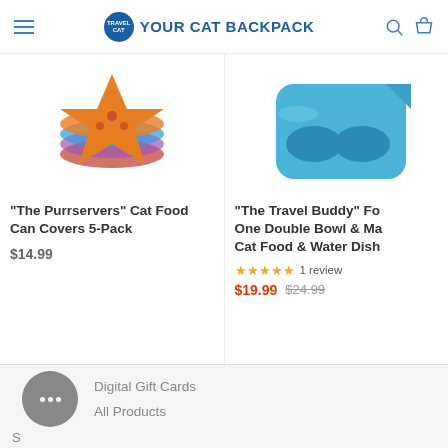YOUR CAT BACKPACK
[Figure (photo): Cat food can covers product image - colorful orange/blue accessories]
"The Purrservers" Cat Food Can Covers 5-Pack
$14.99
[Figure (photo): Blue double bowl product image - travel cat food and water dish]
"The Travel Buddy" Fo... One Double Bowl & Ma... Cat Food & Water Dish...
★★★★★ 1 review
$19.99  $24.99
Digital Gift Cards
All Products